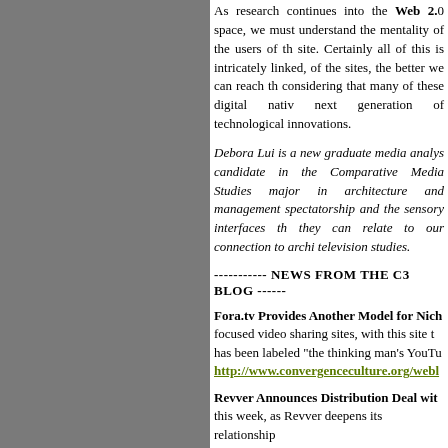As research continues into the Web 2.0 space, we must understand the mentality of the users of this particular site. Certainly all of this is intricately linked, of the sites, the better we can reach the considering that many of these digital natives next generation of technological innovations.
Debora Lui is a new graduate media analyst candidate in the Comparative Media Studies major in architecture and management spectatorship and the sensory interfaces that they can relate to our connection to architecture television studies.
----------- NEWS FROM THE C3 BLOG -------
Fora.tv Provides Another Model for Niche focused video sharing sites, with this site has been labeled "the thinking man's YouTube" http://www.convergenceculture.org/weblo
Revver Announces Distribution Deal with this week, as Revver deepens its relationship http://www.convergenceculture.org/weblo
Anatomy of a Spinoff: Will Grey's Anatomy ABC show will be testing a two-hour pilot-o which All in the Family launched The Jeffers http://www.convergenceculture.org/weblo
Momentary Community Arises Around F group originally formed around a rather nah